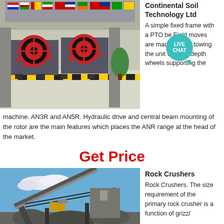[Figure (photo): Industrial jaw crushers with red flywheels displayed in a large exhibition hall with flags hanging from the ceiling]
Continental Soil Technology Ltd
A simple fixed frame with a PTO belt drive. Field moves are made by end towing the unit with the depth wheels supporting the machine. AN3R and AN5R. Hydraulic drive and central beam mounting of the rotor are the main features which places the ANR range at the head of the market.
Get Price
[Figure (photo): Rock crusher conveyor belt system outdoors under blue sky with clouds]
Rock Crushers
Rock Crushers. The size requirement of the primary rock crusher is a function of grizzy...